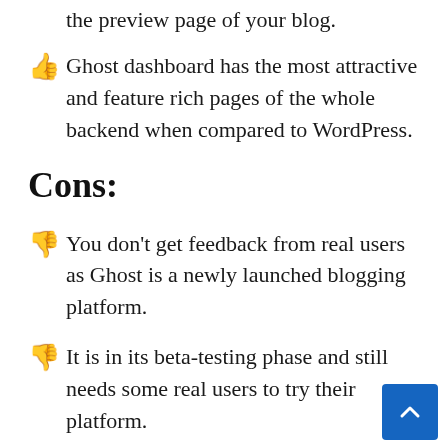the preview page of your blog.
Ghost dashboard has the most attractive and feature rich pages of the whole backend when compared to WordPress.
Cons:
You don't get feedback from real users as Ghost is a newly launched blogging platform.
It is in its beta-testing phase and still needs some real users to try their platform.
It doesn't provide plugins like WordPress blogging platform. However, it offers